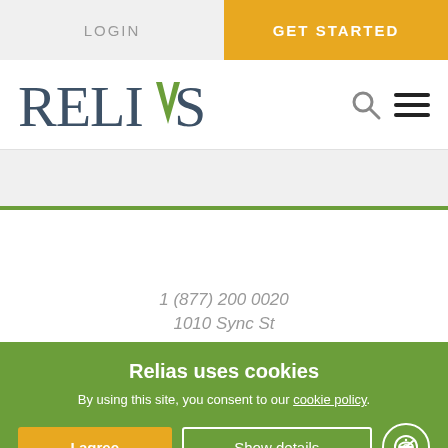LOGIN | GET STARTED
[Figure (logo): Relias logo with green arrow accent on the A]
1 (877) 200 0020
1010 Sync St
Relias uses cookies
By using this site, you consent to our cookie policy.
I agree | Show details